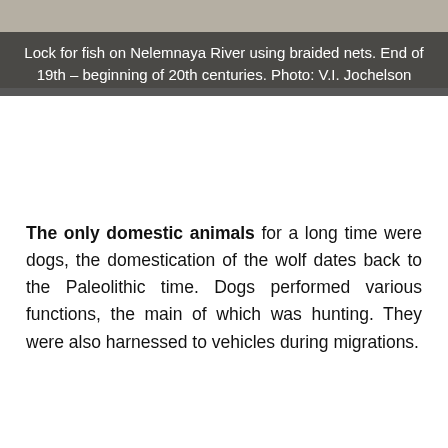[Figure (photo): Photograph of lock for fish on Nelemnaya River using braided nets, end of 19th to beginning of 20th centuries, taken by V.I. Jochelson. Partially visible at top of page with grayish-tan tones.]
Lock for fish on Nelemnaya River using braided nets. End of 19th – beginning of 20th centuries. Photo: V.I. Jochelson
The only domestic animals for a long time were dogs, the domestication of the wolf dates back to the Paleolithic time. Dogs performed various functions, the main of which was hunting. They were also harnessed to vehicles during migrations.